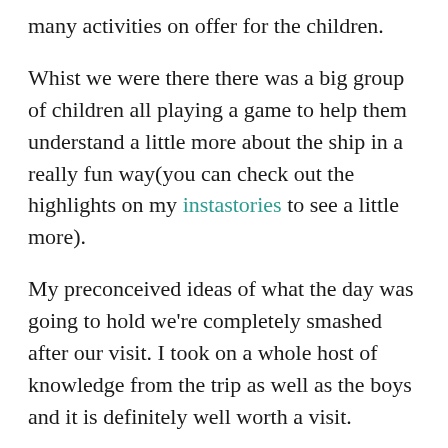many activities on offer for the children.
Whist we were there there was a big group of children all playing a game to help them understand a little more about the ship in a really fun way(you can check out the highlights on my instastories to see a little more).
My preconceived ideas of what the day was going to hold we're completely smashed after our visit. I took on a whole host of knowledge from the trip as well as the boys and it is definitely well worth a visit.
There is so much for the children to see and do and if you check out Royal Museums Greenwich they will have a complete ...